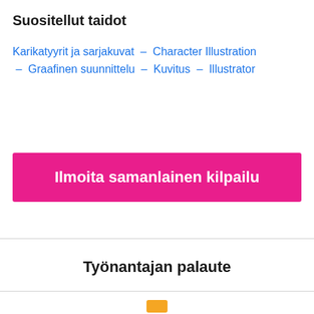Suositellut taidot
Karikatyyrit ja sarjakuvat – Character Illustration – Graafinen suunnittelu – Kuvitus – Illustrator
Ilmoita samanlainen kilpailu
Työnantajan palaute